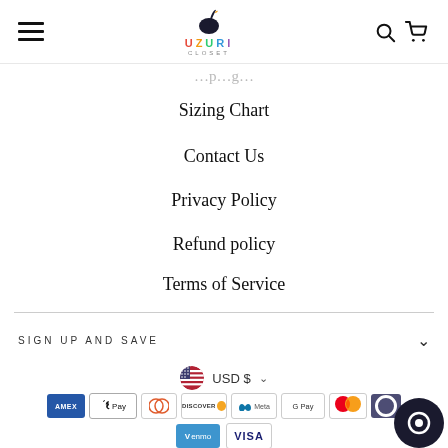UZURI CLOSET - navigation header with hamburger menu, logo, search and cart icons
[partial - top cut off]
Sizing Chart
Contact Us
Privacy Policy
Refund policy
Terms of Service
SIGN UP AND SAVE
USD $
[Figure (other): Payment method icons: American Express, Apple Pay, Diners Club, Discover, Meta Pay, Google Pay, Mastercard, and additional, plus Venmo and Visa]